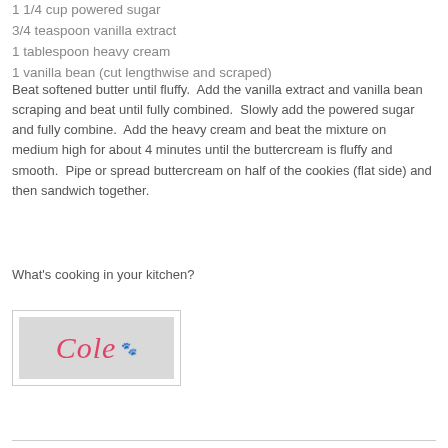1 1/4 cup powered sugar
3/4 teaspoon vanilla extract
1 tablespoon heavy cream
1 vanilla bean (cut lengthwise and scraped)
Beat softened butter until fluffy.  Add the vanilla extract and vanilla bean scraping and beat until fully combined.  Slowly add the powered sugar and fully combine.  Add the heavy cream and beat the mixture on medium high for about 4 minutes until the buttercream is fluffy and smooth.  Pipe or spread buttercream on half of the cookies (flat side) and then sandwich together.
What's cooking in your kitchen?
[Figure (logo): Cole logo with script text 'Cole' in pink/red cursive font and a small paw print icon, on a light gray background inside a white bordered box]